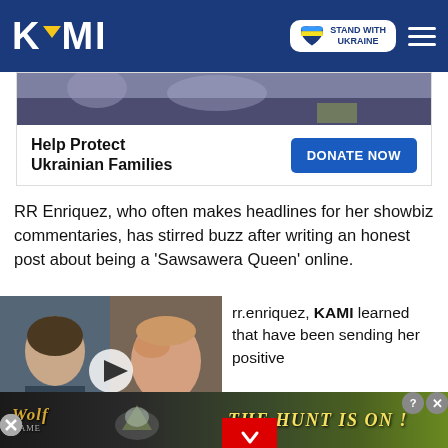KAMI — STAND WITH UKRAINE
[Figure (screenshot): Ukraine charity banner with photo of people and 'Help Protect Ukrainian Families' text with DONATE NOW button]
RR Enriquez, who often makes headlines for her showbiz commentaries, has stirred buzz after writing an honest post about being a 'Sawsawera Queen' online.
[Figure (screenshot): Video thumbnail with label 'UNKNOWN SIDE OF LOVE STORY' showing two people and actress Emma Stone]
rr.enriquez, KAMI learned that have been sending her positive
was called out by Ruru
[Figure (screenshot): Wolf Game advertisement: 'THE HUNT IS ON!']